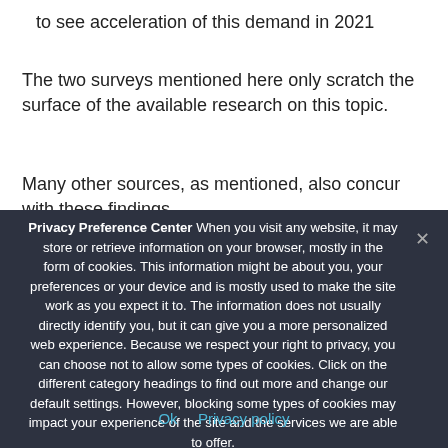to see acceleration of this demand in 2021
The two surveys mentioned here only scratch the surface of the available research on this topic.
Many other sources, as mentioned, also concur with these findings.
Privacy Preference Center When you visit any website, it may store or retrieve information on your browser, mostly in the form of cookies. This information might be about you, your preferences or your device and is mostly used to make the site work as you expect it to. The information does not usually directly identify you, but it can give you a more personalized web experience. Because we respect your right to privacy, you can choose not to allow some types of cookies. Click on the different category headings to find out more and change our default settings. However, blocking some types of cookies may impact your experience of the site and the services we are able to offer.
Ok   Privacy policy